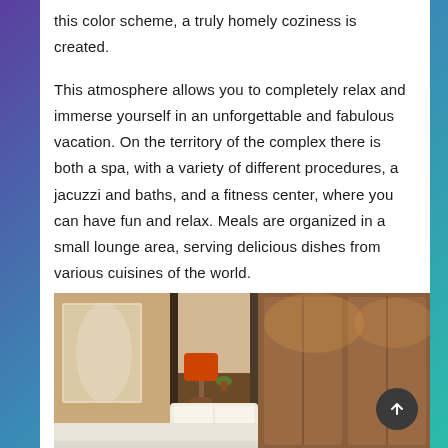this color scheme, a truly homely coziness is created.
This atmosphere allows you to completely relax and immerse yourself in an unforgettable and fabulous vacation. On the territory of the complex there is both a spa, with a variety of different procedures, a jacuzzi and baths, and a fitness center, where you can have fun and relax. Meals are organized in a small lounge area, serving delicious dishes from various cuisines of the world.
[Figure (photo): Hotel room interior showing a bed with white pillows, an orange lamp on a bedside table, warm-toned wooden headboard panels, and decorative plants.]